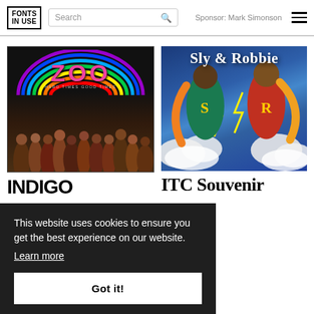FONTS IN USE | Search | Sponsor: Mark Simonson
[Figure (photo): Zoo – Hard Times Good Times album cover. Dark background with colorful 'ZOO' text in pink with a rainbow arc above it, subtitle 'Hard Times Good Times', and a crowd of people at the bottom.]
[Figure (photo): Sly & Robbie album cover. Comic book style illustration showing two superhero figures labeled S and R, with 'Sly & Robbie' written in white serif text at the top against a blue sky background.]
INDIGO
ITC Souvenir
This website uses cookies to ensure you get the best experience on our website.
Learn more
Got it!